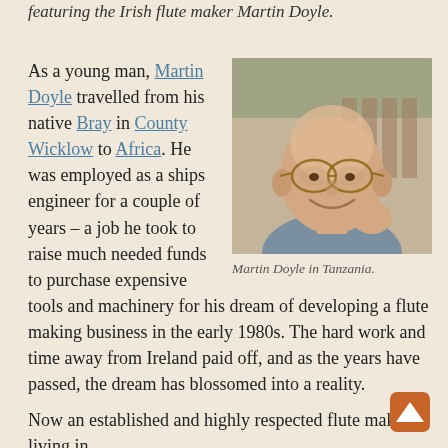featuring the Irish flute maker Martin Doyle.
As a young man, Martin Doyle travelled from his native Bray in County Wicklow to Africa. He was employed as a ships engineer for a couple of years – a job he took to raise much needed funds to purchase expensive tools and machinery for his dream of developing a flute making business in the early 1980s. The hard work and time away from Ireland paid off, and as the years have passed, the dream has blossomed into a reality.
[Figure (photo): Portrait photo of Martin Doyle, a bald older man with glasses, smiling, in Tanzania]
Martin Doyle in Tanzania.
Now an established and highly respected flute maker living in